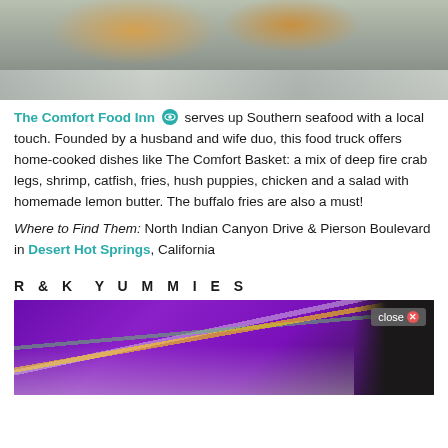[Figure (photo): Top-down photo of food items wrapped/served in aluminum foil on a tray, likely seafood dishes]
The Comfort Food Inn (icon) serves up Southern seafood with a local touch. Founded by a husband and wife duo, this food truck offers home-cooked dishes like The Comfort Basket: a mix of deep fire crab legs, shrimp, catfish, fries, hush puppies, chicken and a salad with homemade lemon butter. The buffalo fries are also a must!
Where to Find Them: North Indian Canyon Drive & Pierson Boulevard in Desert Hot Springs, California
R & K Y U M M I E S
[Figure (photo): Photo of colorful drinks with straws (yellow, green, white) against a purple background, with a black and white floral decoration on the right. A 'close X' button overlay is visible in the top right corner.]